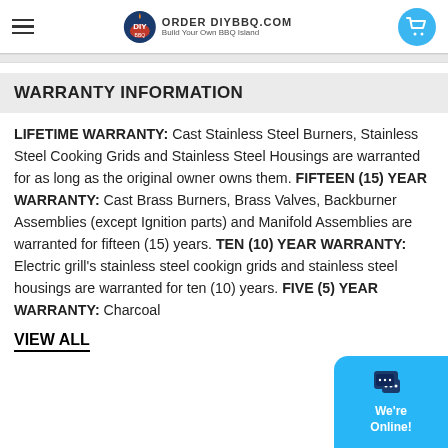ORDER DIYBBQ.COM Build Your Own BBQ Island
WARRANTY INFORMATION
LIFETIME WARRANTY: Cast Stainless Steel Burners, Stainless Steel Cooking Grids and Stainless Steel Housings are warranted for as long as the original owner owns them. FIFTEEN (15) YEAR WARRANTY: Cast Brass Burners, Brass Valves, Backburner Assemblies (except Ignition parts) and Manifold Assemblies are warranted for fifteen (15) years. TEN (10) YEAR WARRANTY: Electric grill's stainless steel cookign grids and stainless steel housings are warranted for ten (10) years. FIVE (5) YEAR WARRANTY: Charcoal
VIEW ALL